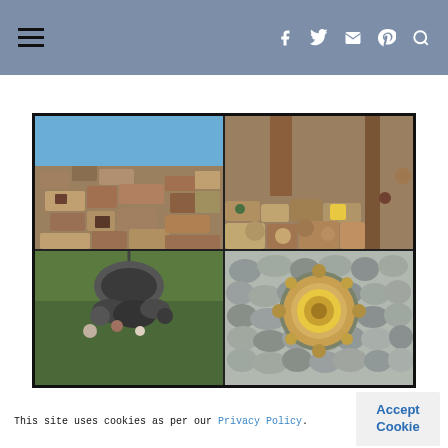Navigation header with hamburger menu and social icons (Facebook, Twitter, Email, Pinterest, Search)
[Figure (photo): Four-panel photo collage of a rustic stone structure/artwork. Top-left: stacked stone wall with blue sky. Top-right: colorful stone archway with decorative elements. Bottom-left: hanging metal/stone outdoor sculpture over grass. Bottom-right: circular decorative element set into a stone wall.]
This site uses cookies as per our Privacy Policy.
Accept Cookie